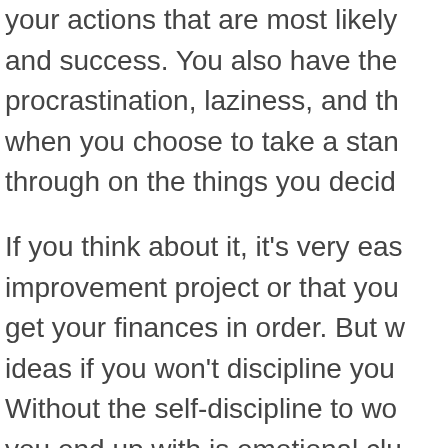your actions that are most likely and success. You also have the procrastination, laziness, and th when you choose to take a stan through on the things you decid
If you think about it, it's very eas improvement project or that you get your finances in order. But w ideas if you won't discipline you Without the self-discipline to wo you end up with is emotional clu you constantly have those proje undone.
What Will Self-D Do?
When you develop the skill of s
Overcome habits that aren't smoking, not getting enough